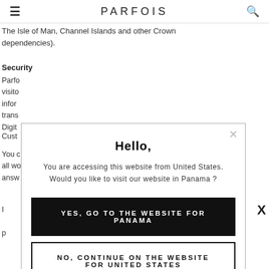PARFOIS
The Isle of Man, Channel Islands and other Crown dependencies).
Security
Parfo... visitor... inform... trans... Digit...
Cust...
You c... all wo... answ...
I... p...
[Figure (screenshot): Modal dialog on PARFOIS website. Title: Hello, Body: You are accessing this website from United States. Would you like to visit our website in Panama? Button 1 (black): YES, GO TO THE WEBSITE FOR PANAMA. Button 2 (outline): NO, CONTINUE ON THE WEBSITE FOR UNITED STATES. Close X in top right corner.]